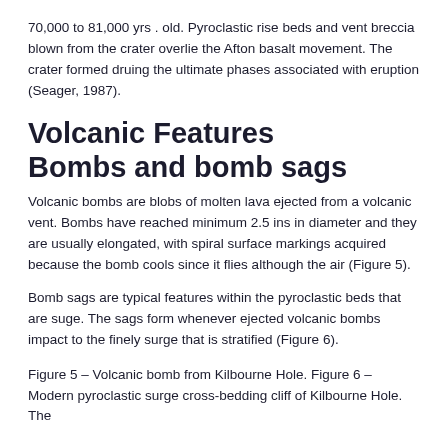70,000 to 81,000 yrs . old. Pyroclastic rise beds and vent breccia blown from the crater overlie the Afton basalt movement. The crater formed druing the ultimate phases associated with eruption (Seager, 1987).
Volcanic Features Bombs and bomb sags
Volcanic bombs are blobs of molten lava ejected from a volcanic vent. Bombs have reached minimum 2.5 ins in diameter and they are usually elongated, with spiral surface markings acquired because the bomb cools since it flies although the air (Figure 5).
Bomb sags are typical features within the pyroclastic beds that are suge. The sags form whenever ejected volcanic bombs impact to the finely surge that is stratified (Figure 6).
Figure 5 – Volcanic bomb from Kilbourne Hole. Figure 6 – Modern pyroclastic surge cross-bedding cliff of Kilbourne Hole. The